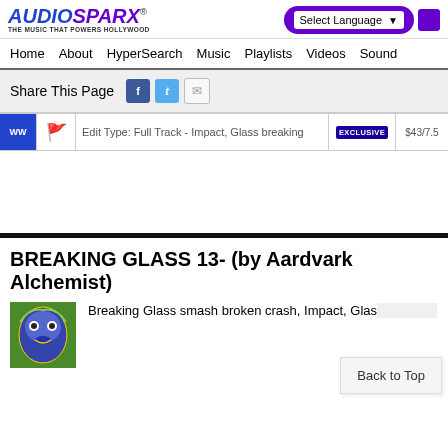[Figure (logo): AudioSparx logo with tagline 'THE MUSIC THAT POWERS HOLLYWOOD']
Home   About   HyperSearch   Music   Playlists   Videos   Sound
Share This Page
Edit Type: Full Track - Impact, Glass breaking   EXCLUSIVE   $43/7.5
BREAKING GLASS 13- (by Aardvark Alchemist)
[Figure (illustration): Colorful abstract face illustration in blue, yellow and green tones]
Breaking Glass smash broken crash, Impact, Glass breaking
Back to Top